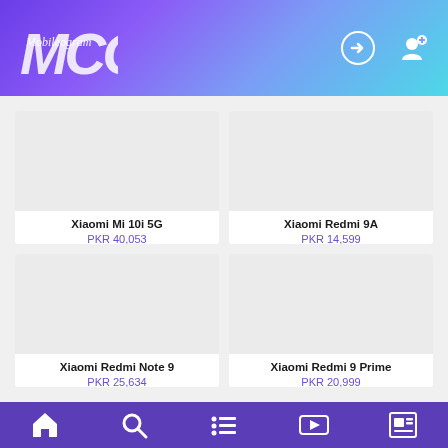Mobileogram - MCG header with login and register icons
[Figure (screenshot): Product listing card: Xiaomi Mi 10i 5G, placeholder image (light gray)]
Xiaomi Mi 10i 5G
PKR 40,053
[Figure (screenshot): Product listing card: Xiaomi Redmi 9A, placeholder image (light gray)]
Xiaomi Redmi 9A
PKR 14,599
[Figure (screenshot): Product listing card: Xiaomi Redmi Note 9, placeholder image (light gray)]
Xiaomi Redmi Note 9
PKR 25,634
[Figure (screenshot): Product listing card: Xiaomi Redmi 9 Prime, placeholder image (light gray)]
Xiaomi Redmi 9 Prime
PKR 20,999
Bottom navigation bar with home, search, list, video, and news icons